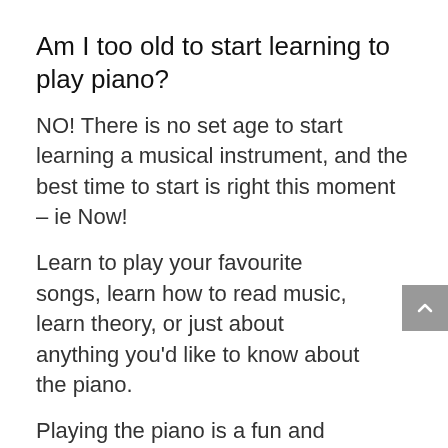Am I too old to start learning to play piano?
NO! There is no set age to start learning a musical instrument, and the best time to start is right this moment – ie Now!
Learn to play your favourite songs, learn how to read music, learn theory, or just about anything you'd like to know about the piano.
Playing the piano is a fun and great way to exercise your creative abilities so don't just dream about it, start learning.
What are your Strathmore piano teachers qualifications?